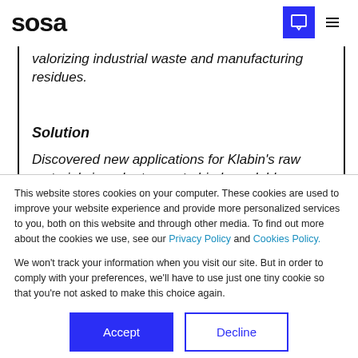SOSA
valorizing industrial waste and manufacturing residues.
Solution
Discovered new applications for Klabin's raw materials in order to create biodegradable products and new potential
This website stores cookies on your computer. These cookies are used to improve your website experience and provide more personalized services to you, both on this website and through other media. To find out more about the cookies we use, see our Privacy Policy and Cookies Policy.
We won't track your information when you visit our site. But in order to comply with your preferences, we'll have to use just one tiny cookie so that you're not asked to make this choice again.
Accept
Decline